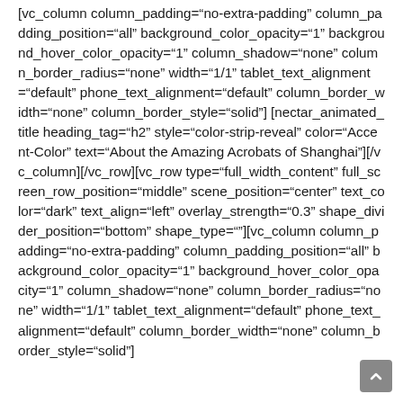[vc_column column_padding="no-extra-padding" column_padding_position="all" background_color_opacity="1" background_hover_color_opacity="1" column_shadow="none" column_border_radius="none" width="1/1" tablet_text_alignment="default" phone_text_alignment="default" column_border_width="none" column_border_style="solid"] [nectar_animated_title heading_tag="h2" style="color-strip-reveal" color="Accent-Color" text="About the Amazing Acrobats of Shanghai"][/vc_column][/vc_row][vc_row type="full_width_content" full_screen_row_position="middle" scene_position="center" text_color="dark" text_align="left" overlay_strength="0.3" shape_divider_position="bottom" shape_type=""][vc_column column_padding="no-extra-padding" column_padding_position="all" background_color_opacity="1" background_hover_color_opacity="1" column_shadow="none" column_border_radius="none" width="1/1" tablet_text_alignment="default" phone_text_alignment="default" column_border_width="none" column_border_style="solid"]